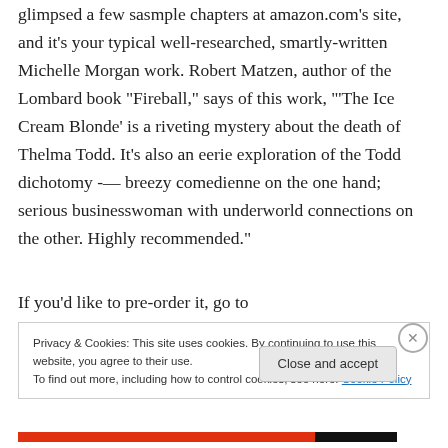glimpsed a few sasmple chapters at amazon.com's site, and it's your typical well-researched, smartly-written Michelle Morgan work. Robert Matzen, author of the Lombard book “Fireball,” says of this work, ‘“The Ice Cream Blonde’ is a riveting mystery about the death of Thelma Todd. It’s also an eerie exploration of the Todd dichotomy -— breezy comedienne on the one hand; serious businesswoman with underworld connections on the other. Highly recommended.”
If you’d like to pre-order it, go to
Privacy & Cookies: This site uses cookies. By continuing to use this website, you agree to their use.
To find out more, including how to control cookies, see here: Cookie Policy